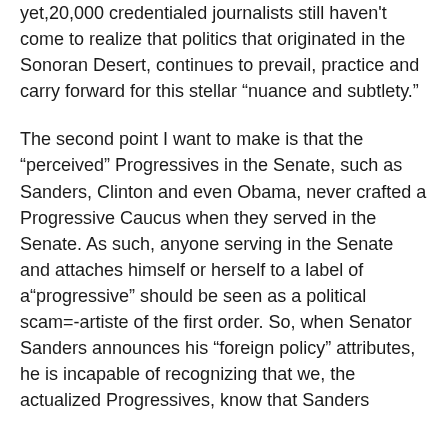yet,20,000 credentialed journalists still haven't come to realize that politics that originated in the Sonoran Desert, continues to prevail, practice and carry forward for this stellar “nuance and subtlety.”
The second point I want to make is that the “perceived” Progressives in the Senate, such as Sanders, Clinton and even Obama, never crafted a Progressive Caucus when they served in the Senate. As such, anyone serving in the Senate and attaches himself or herself to a label of a“progressive” should be seen as a political scam=-artiste of the first order. So, when Senator Sanders announces his “foreign policy” attributes, he is incapable of recognizing that we, the actualized Progressives, know that Sanders